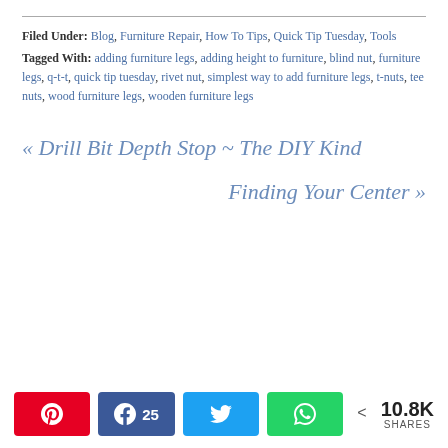Filed Under: Blog, Furniture Repair, How To Tips, Quick Tip Tuesday, Tools
Tagged With: adding furniture legs, adding height to furniture, blind nut, furniture legs, q-t-t, quick tip tuesday, rivet nut, simplest way to add furniture legs, t-nuts, tee nuts, wood furniture legs, wooden furniture legs
« Drill Bit Depth Stop ~ The DIY Kind
Finding Your Center »
[Figure (infographic): Social share bar with Pinterest, Facebook (25), Twitter, WhatsApp buttons, and a share count of 10.8K SHARES]